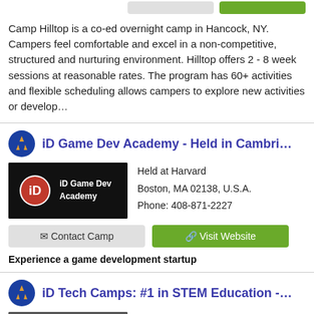Camp Hilltop is a co-ed overnight camp in Hancock, NY. Campers feel comfortable and excel in a non-competitive, structured and nurturing environment. Hilltop offers 2 - 8 week sessions at reasonable rates. The program has 60+ activities and flexible scheduling allows campers to explore new activities or develop…
iD Game Dev Academy - Held in Cambridge, M
Held at Harvard
Boston, MA 02138, U.S.A.
Phone: 408-871-2227
Experience a game development startup
iD Tech Camps: #1 in STEM Education - Held a
Northwestern University, 633 Clark St
Evanston, IL 60208, U.S.A.
Phone: 408-871-2227